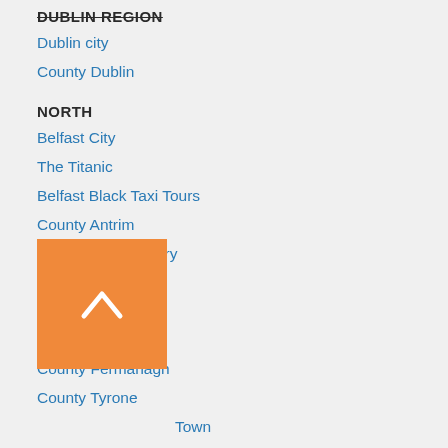DUBLIN REGION
Dublin city
County Dublin
NORTH
Belfast City
The Titanic
Belfast Black Taxi Tours
County Antrim
County Londonderry
Londonderry City
County Down
County Armagh
County Fermanagh
County Tyrone
Enniskillen Town
County Donegal
County Cavan